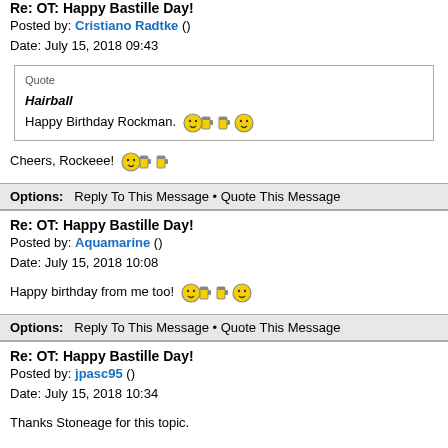Re: OT: Happy Bastille Day!
Posted by: Cristiano Radtke ()
Date: July 15, 2018 09:43
Quote
Hairball
Happy Birthday Rockman. [emoji]
Cheers, Rockeee! [emoji]
Options: Reply To This Message • Quote This Message
Re: OT: Happy Bastille Day!
Posted by: Aquamarine ()
Date: July 15, 2018 10:08
Happy birthday from me too! [emoji]
Options: Reply To This Message • Quote This Message
Re: OT: Happy Bastille Day!
Posted by: jpasc95 ()
Date: July 15, 2018 10:34
Thanks Stoneage for this topic.
I am fond of history and as a French guy, the revolution is probably the most interesting area of our history.
If you take the tube at la Bastille, you still can see some remains of the